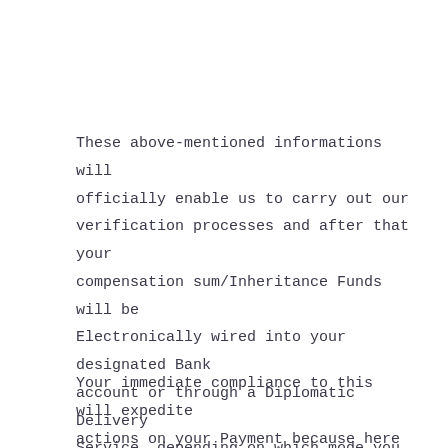These above-mentioned informations will officially enable us to carry out our verification processes and after that your compensation sum/Inheritance Funds will be Electronically wired into your designated Bank account or through a Diplomatic Delivery Service, depending on which mode you prefer.
Your immediate compliance to this will expedite actions on your Payment because here in this